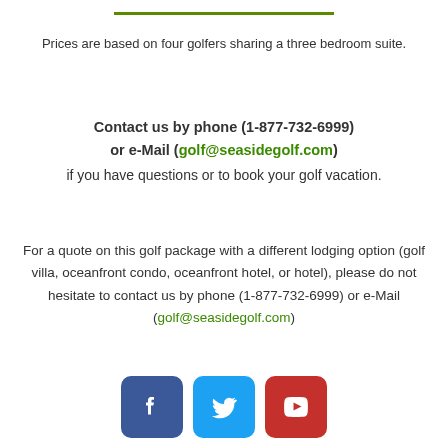Prices are based on four golfers sharing a three bedroom suite.
Contact us by phone (1-877-732-6999) or e-Mail (golf@seasidegolf.com) if you have questions or to book your golf vacation.
For a quote on this golf package with a different lodging option (golf villa, oceanfront condo, oceanfront hotel, or hotel), please do not hesitate to contact us by phone (1-877-732-6999) or e-Mail (golf@seasidegolf.com)
[Figure (infographic): Social media icons: Facebook (blue rounded square with 'f'), Twitter (light blue rounded square with bird), YouTube (red rounded square with play button triangle)]